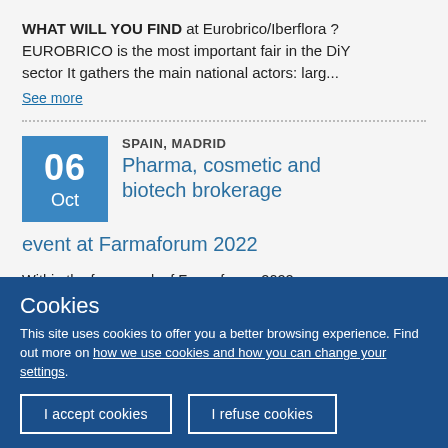WHAT WILL YOU FIND at Eurobrico/Iberflora ? EUROBRICO is the most important fair in the DiY sector It gathers the main national actors: larg...
See more
SPAIN, MADRID
06 Oct
Pharma, cosmetic and biotech brokerage event at Farmaforum 2022
Within the framework of Farmaforum 2022, Fundación para el Conocimiento madri+d will
Cookies
This site uses cookies to offer you a better browsing experience. Find out more on how we use cookies and how you can change your settings.
I accept cookies
I refuse cookies